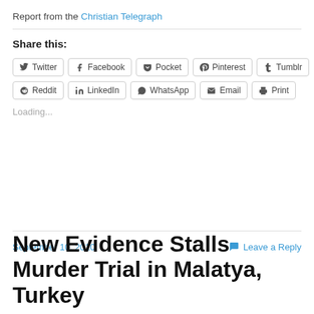Report from the Christian Telegraph
Share this:
Twitter Facebook Pocket Pinterest Tumblr Reddit LinkedIn WhatsApp Email Print
Loading...
September 10, 2010
Leave a Reply
New Evidence Stalls Murder Trial in Malatya, Turkey